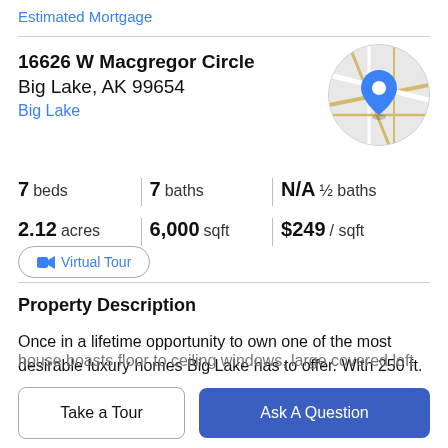Estimated Mortgage
16626 W Macgregor Circle
Big Lake, AK 99654
Big Lake
[Figure (map): Circular map thumbnail showing street map with blue location pin marker]
7 beds   7 baths   N/A ½ baths   2.12 acres   6,000 sqft   $249 / sqft
Virtual Tour
Property Description
Once in a lifetime opportunity to own one of the most desirable luxury homes Big Lake has to offer. With 250 ft.
house boasts floor to ceiling windows, large covered loft
Take a Tour
Ask A Question